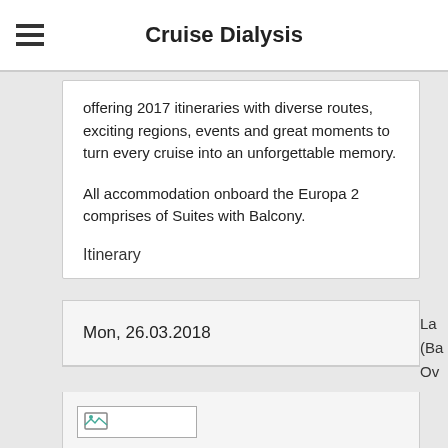Cruise Dialysis
offering 2017 itineraries with diverse routes, exciting regions, events and great moments to turn every cruise into an unforgettable memory.
All accommodation onboard the Europa 2 comprises of Suites with Balcony.
Itinerary
| Mon, 26.03.2018 |
[Figure (photo): Broken image placeholder in a table row]